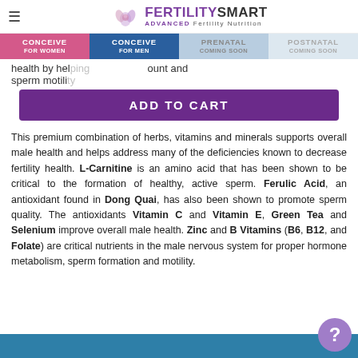FERTILITYSMART ADVANCED Fertility Nutrition
CONCEIVE FOR WOMEN | CONCEIVE FOR MEN | PRENATAL COMING SOON | POSTNATAL COMING SOON
health by helping... count and sperm motility...
ADD TO CART
This premium combination of herbs, vitamins and minerals supports overall male health and helps address many of the deficiencies known to decrease fertility health. L-Carnitine is an amino acid that has been shown to be critical to the formation of healthy, active sperm. Ferulic Acid, an antioxidant found in Dong Quai, has also been shown to promote sperm quality. The antioxidants Vitamin C and Vitamin E, Green Tea and Selenium improve overall male health. Zinc and B Vitamins (B6, B12, and Folate) are critical nutrients in the male nervous system for proper hormone metabolism, sperm formation and motility.